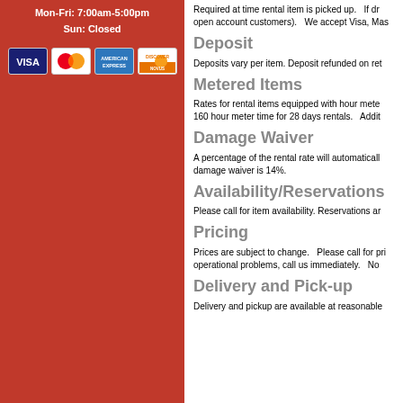Mon-Fri: 7:00am-5:00pm
Sun: Closed
[Figure (logo): Four credit card logos: Visa, MasterCard, American Express, Discover Novus]
Required at time rental item is picked up.   If dr open account customers).   We accept Visa, Mas
Deposit
Deposits vary per item. Deposit refunded on ret
Metered Items
Rates for rental items equipped with hour mete 160 hour meter time for 28 days rentals.   Addit
Damage Waiver
A percentage of the rental rate will automaticall damage waiver is 14%.
Availability/Reservations
Please call for item availability. Reservations ar
Pricing
Prices are subject to change.   Please call for pri operational problems, call us immediately.   No
Delivery and Pick-up
Delivery and pickup are available at reasonable